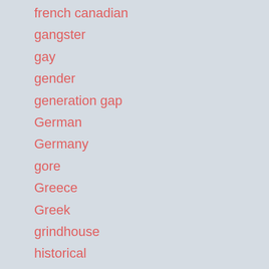french canadian
gangster
gay
gender
generation gap
German
Germany
gore
Greece
Greek
grindhouse
historical
Holiday